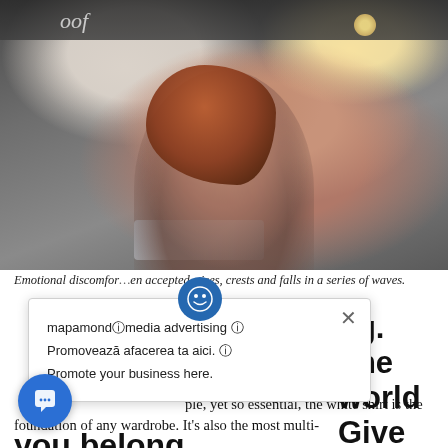[Figure (photo): Woman with red/auburn hair smiling while working on a laptop in a café setting. She is wearing a purple/mauve t-shirt. The background shows café equipment and warm lighting.]
Emotional discomfort, when accepted, rises, crests and falls in a series of waves.
mapamondⓘmedia advertising ⓘ Promovează afacerea ta aici. ⓘ Promote your business here.
ng. The world Give up all the one in which you belong.
ple, yet so essential, the white shirt is the foundation of any wardrobe. It's also the most multi-